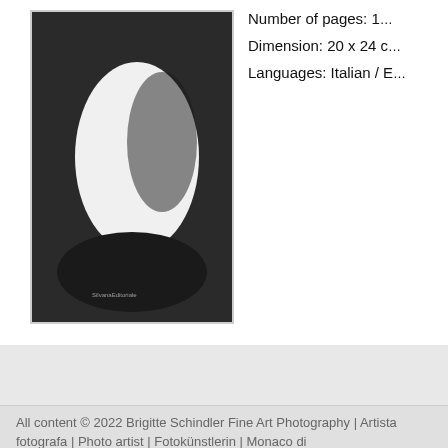[Figure (photo): Black and white photo of a sculptural white oval/egg shape against a dark background, with 'SilvanaEditoriale' text visible at the bottom left of the image]
Number of pages: 1...
Dimension: 20 x 24 c...
Languages: Italian / E...
All content © 2022 Brigitte Schindler Fine Art Photography | Artista fotografa | Photo artist | Fotokünstlerin | Monaco di Baviera, Torino | Munich, Turin